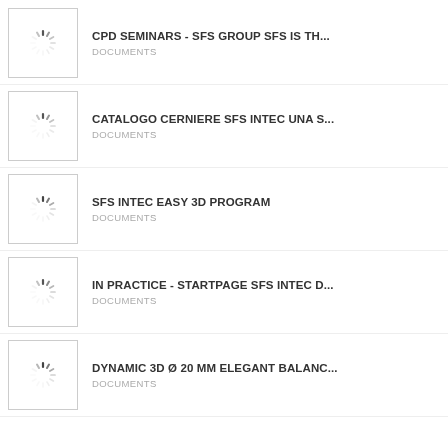CPD SEMINARS - SFS GROUP SFS IS TH...
DOCUMENTS
CATALOGO CERNIERE SFS INTEC UNA S...
DOCUMENTS
SFS INTEC EASY 3D PROGRAM
DOCUMENTS
IN PRACTICE - STARTPAGE SFS INTEC D...
DOCUMENTS
DYNAMIC 3D Ø 20 MM ELEGANT BALANC...
DOCUMENTS